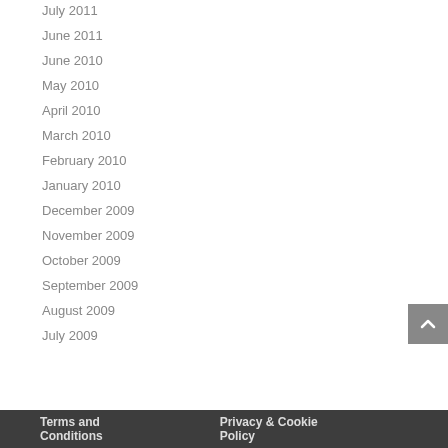July 2011
June 2011
June 2010
May 2010
April 2010
March 2010
February 2010
January 2010
December 2009
November 2009
October 2009
September 2009
August 2009
July 2009
Terms and Conditions    Privacy & Cookie Policy